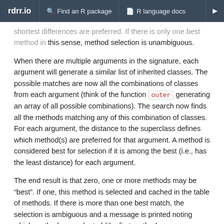rdrr.io  Find an R package  R language docs
shortest differences are preferred. If there is only one best method in this sense, method selection is unambiguous.
When there are multiple arguments in the signature, each argument will generate a similar list of inherited classes. The possible matches are now all the combinations of classes from each argument (think of the function outer generating an array of all possible combinations). The search now finds all the methods matching any of this combination of classes. For each argument, the distance to the superclass defines which method(s) are preferred for that argument. A method is considered best for selection if it is among the best (i.e., has the least distance) for each argument.
The end result is that zero, one or more methods may be “best”. If one, this method is selected and cached in the table of methods. If there is more than one best match, the selection is ambiguous and a message is printed noting which method was selected (the first method lexicographically in the ordering) and what other methods could have been selected. Since the ambiguity is usually nothing